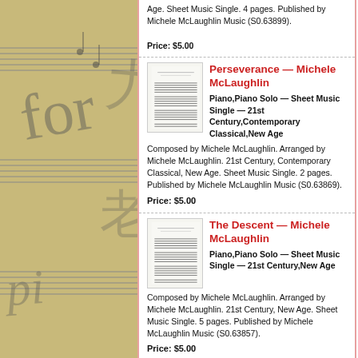Age. Sheet Music Single. 4 pages. Published by Michele McLaughlin Music (S0.63899).
Price: $5.00
Perseverance — Michele McLaughlin
Piano,Piano Solo — Sheet Music Single — 21st Century,Contemporary Classical,New Age
Composed by Michele McLaughlin. Arranged by Michele McLaughlin. 21st Century, Contemporary Classical, New Age. Sheet Music Single. 2 pages. Published by Michele McLaughlin Music (S0.63869).
Price: $5.00
The Descent — Michele McLaughlin
Piano,Piano Solo — Sheet Music Single — 21st Century,New Age
Composed by Michele McLaughlin. Arranged by Michele McLaughlin. 21st Century, New Age. Sheet Music Single. 5 pages. Published by Michele McLaughlin Music (S0.63857).
Price: $5.00